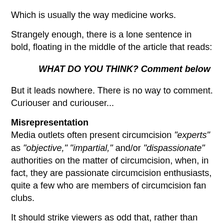Which is usually the way medicine works.
Strangely enough, there is a lone sentence in bold, floating in the middle of the article that reads:
WHAT DO YOU THINK? Comment below
But it leads nowhere. There is no way to comment. Curiouser and curiouser...
Misrepresentation
Media outlets often present circumcision "experts" as "objective," "impartial," and/or "dispassionate" authorities on the matter of circumcision, when, in fact, they are passionate circumcision enthusiasts, quite a few who are members of circumcision fan clubs.
It should strike viewers as odd that, rather than bothering to invite someone from a reputable medical organization, such as the Royal Australasian College of Physicians (RACP), to speak on the matter, Australian news outlets place more